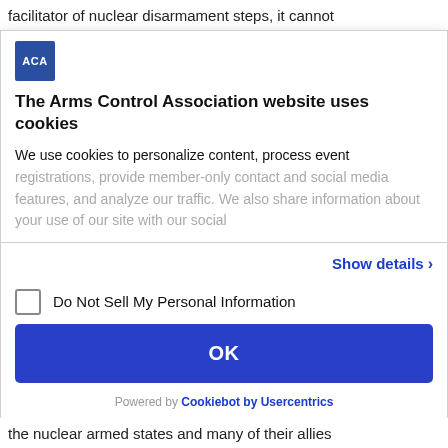facilitator of nuclear disarmament steps, it cannot
[Figure (logo): ACA (Arms Control Association) logo - blue square with white text]
The Arms Control Association website uses cookies
We use cookies to personalize content, process event registrations, provide member-only contact and social media features, and analyze our traffic. We also share information about your use of our site with our social
Show details >
Do Not Sell My Personal Information
OK
Powered by Cookiebot by Usercentrics
the nuclear armed states and many of their allies